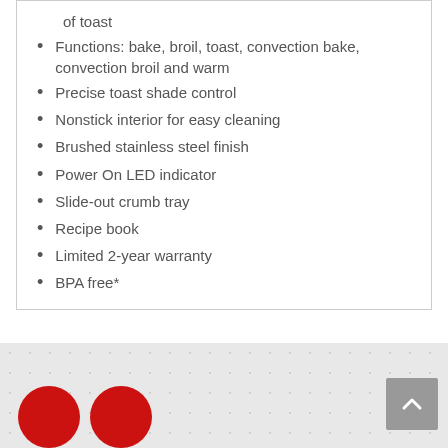of toast
Functions: bake, broil, toast, convection bake, convection broil and warm
Precise toast shade control
Nonstick interior for easy cleaning
Brushed stainless steel finish
Power On LED indicator
Slide-out crumb tray
Recipe book
Limited 2-year warranty
BPA free*
[Figure (logo): Red circular logo marks at bottom left of page, partially visible]